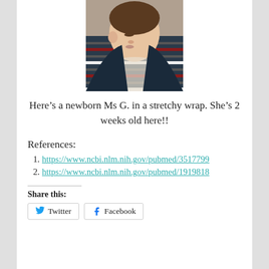[Figure (photo): A newborn baby sleeping in a stretchy wrap carrier, approximately 2 weeks old, wrapped in a striped fabric.]
Here’s a newborn Ms G. in a stretchy wrap. She’s 2 weeks old here!!
References:
1. https://www.ncbi.nlm.nih.gov/pubmed/3517799
2. https://www.ncbi.nlm.nih.gov/pubmed/1919818
Share this:
Twitter  Facebook